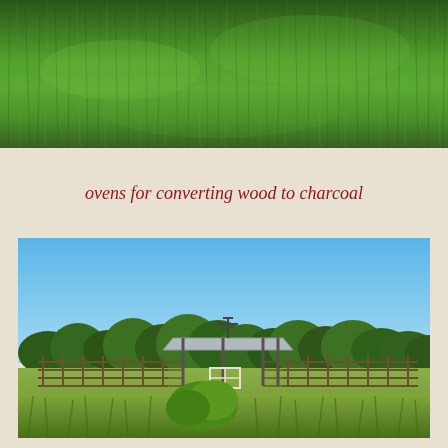[Figure (photo): Aerial or close-up view of lush green grass field from above]
ovens for converting wood to charcoal
[Figure (photo): Ranch or farm scene with wooden cattle pens/corrals, a covered shelter structure, trees in background, blue sky, and tall grass in foreground]